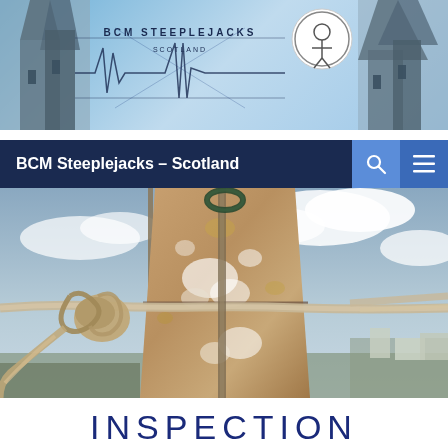[Figure (screenshot): BCM Steeplejacks website header banner with blue background, ECG/sine wave line graphic, church spire silhouettes on left and right, and a circular logo badge on the right side]
BCM Steeplejacks – Scotland
[Figure (photo): Close-up photograph of a weathered stone pinnacle or finial on a steeple, with ropes tied around it, lichen and white staining on the sandstone surface, with a town and cloudy sky visible in the background]
INSPECTION